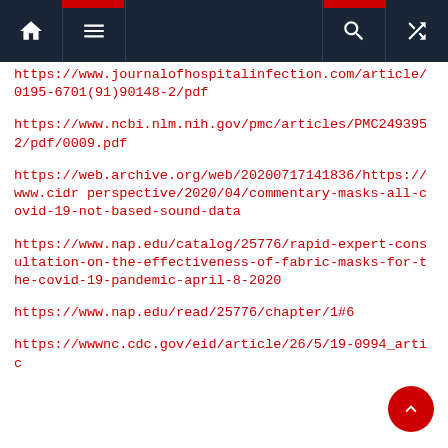Navigation bar with home, menu, search, and random icons
https://www.journalofhospitalinfection.com/article/0195-6701(91)90148-2/pdf
https://www.ncbi.nlm.nih.gov/pmc/articles/PMC2493952/pdf/0009.pdf
https://web.archive.org/web/20200717141836/https://www.cidr perspective/2020/04/commentary-masks-all-covid-19-not-based-sound-data
https://www.nap.edu/catalog/25776/rapid-expert-consultation-on-the-effectiveness-of-fabric-masks-for-the-covid-19-pandemic-april-8-2020
https://www.nap.edu/read/25776/chapter/1#6
https://wwwnc.cdc.gov/eid/article/26/5/19-0994_artic